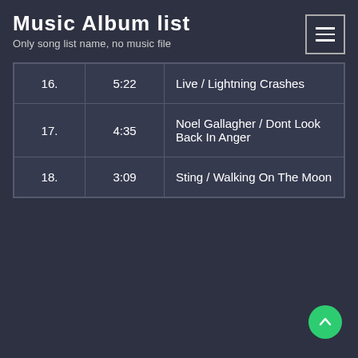Music Album list
Only song list name, no music file
| 16. | 5:22 | Live / Lightning Crashes |
| 17. | 4:35 | Noel Gallagher / Dont Look Back In Anger |
| 18. | 3:09 | Sting / Walking On The Moon |